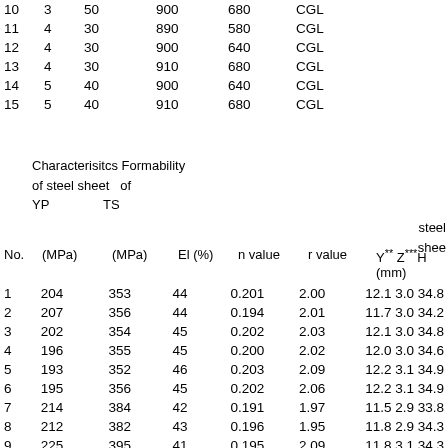| No. |  |  |  |  |  |
| --- | --- | --- | --- | --- | --- |
| 10 | 3 | 50 | 900 | 680 | CGL |
| 11 | 4 | 30 | 890 | 580 | CGL |
| 12 | 4 | 30 | 900 | 640 | CGL |
| 13 | 4 | 30 | 910 | 680 | CGL |
| 14 | 5 | 40 | 900 | 640 | CGL |
| 15 | 5 | 40 | 910 | 680 | CGL |
| No. | (MPa) | (MPa) | El (%) | n value | r value | Y** Z*** H (mm) |
| --- | --- | --- | --- | --- | --- | --- |
| 1 | 204 | 353 | 44 | 0.201 | 2.00 | 12.1 3.0 34.8 |
| 2 | 207 | 356 | 44 | 0.194 | 2.01 | 11.7 3.0 34.2 |
| 3 | 202 | 354 | 45 | 0.202 | 2.03 | 12.1 3.0 34.8 |
| 4 | 196 | 355 | 45 | 0.200 | 2.02 | 12.0 3.0 34.6 |
| 5 | 193 | 352 | 46 | 0.203 | 2.09 | 12.2 3.1 34.9 |
| 6 | 195 | 356 | 45 | 0.202 | 2.06 | 12.2 3.1 34.9 |
| 7 | 214 | 384 | 42 | 0.191 | 1.97 | 11.5 2.9 33.8 |
| 8 | 212 | 382 | 43 | 0.196 | 1.95 | 11.8 2.9 34.3 |
| 9 | 225 | 395 | 41 | 0.195 | 2.09 | 11.8 3.1 34.3 |